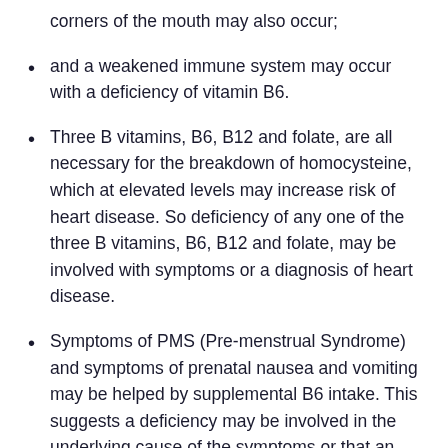corners of the mouth may also occur;
and a weakened immune system may occur with a deficiency of vitamin B6.
Three B vitamins, B6, B12 and folate, are all necessary for the breakdown of homocysteine, which at elevated levels may increase risk of heart disease. So deficiency of any one of the three B vitamins, B6, B12 and folate, may be involved with symptoms or a diagnosis of heart disease.
Symptoms of PMS (Pre-menstrual Syndrome) and symptoms of prenatal nausea and vomiting may be helped by supplemental B6 intake. This suggests a deficiency may be involved in the underlying cause of the symptoms or that an increased need for the nutrient occurs before menstruation and during pregnancy. All B vitamins are important during pregnancy as they are